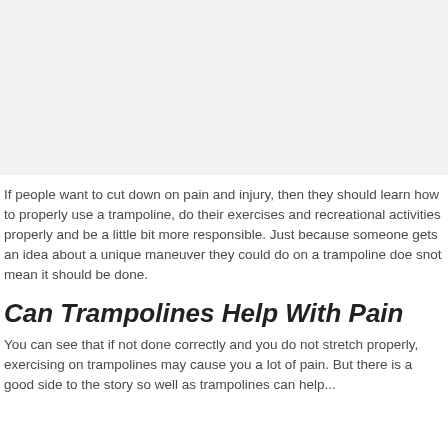[Figure (photo): Image placeholder area at top of page, light gray background]
If people want to cut down on pain and injury, then they should learn how to properly use a trampoline, do their exercises and recreational activities properly and be a little bit more responsible. Just because someone gets an idea about a unique maneuver they could do on a trampoline doe snot mean it should be done.
Can Trampolines Help With Pain
You can see that if not done correctly and you do not stretch properly, exercising on trampolines may cause you a lot of pain. But there is a good side to the story so well as trampolines can help...